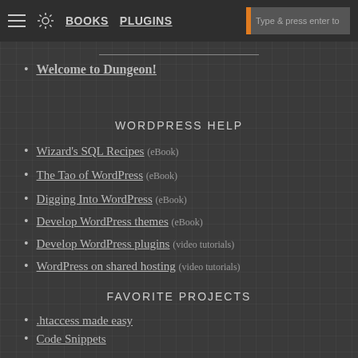BOOKS | PLUGINS | Type & press enter to search
Welcome to Dungeon!
WORDPRESS HELP
Wizard's SQL Recipes (eBook)
The Tao of WordPress (eBook)
Digging Into WordPress (eBook)
Develop WordPress themes (eBook)
Develop WordPress plugins (video tutorials)
WordPress on shared hosting (video tutorials)
FAVORITE PROJECTS
.htaccess made easy
Code Snippets
Blackhole Pro
BBQ Pro